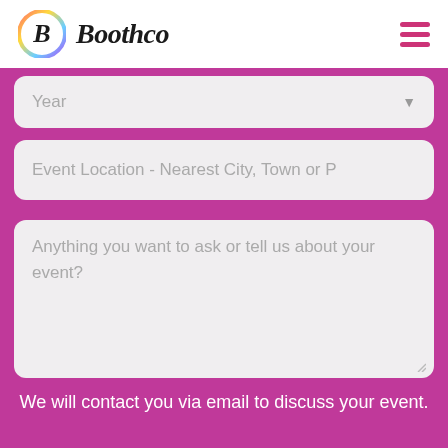[Figure (logo): Boothco logo with colorful circular icon and italic bold text]
Year
Event Location - Nearest City, Town or P
Anything you want to ask or tell us about your event?
We will contact you via email to discuss your event.